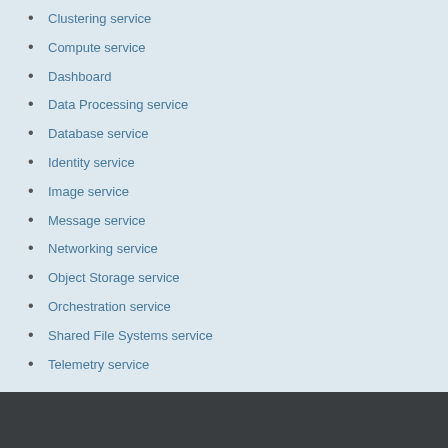Clustering service
Compute service
Dashboard
Data Processing service
Database service
Identity service
Image service
Message service
Networking service
Object Storage service
Orchestration service
Shared File Systems service
Telemetry service
The policy.json file
Firewalls and default ports
Community support
Glossary